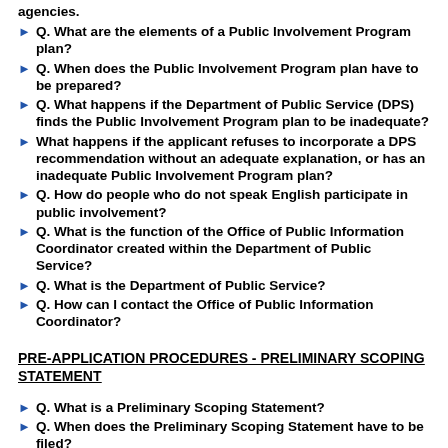agencies.
Q. What are the elements of a Public Involvement Program plan?
Q. When does the Public Involvement Program plan have to be prepared?
Q. What happens if the Department of Public Service (DPS) finds the Public Involvement Program plan to be inadequate?
What happens if the applicant refuses to incorporate a DPS recommendation without an adequate explanation, or has an inadequate Public Involvement Program plan?
Q. How do people who do not speak English participate in public involvement?
Q. What is the function of the Office of Public Information Coordinator created within the Department of Public Service?
Q. What is the Department of Public Service?
Q. How can I contact the Office of Public Information Coordinator?
PRE-APPLICATION PROCEDURES - PRELIMINARY SCOPING STATEMENT
Q. What is a Preliminary Scoping Statement?
Q. When does the Preliminary Scoping Statement have to be filed?